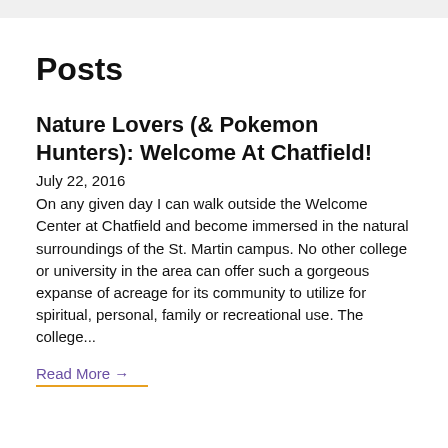Posts
Nature Lovers (& Pokemon Hunters): Welcome At Chatfield!
July 22, 2016
On any given day I can walk outside the Welcome Center at Chatfield and become immersed in the natural surroundings of the St. Martin campus. No other college or university in the area can offer such a gorgeous expanse of acreage for its community to utilize for spiritual, personal, family or recreational use. The college...
Read More →